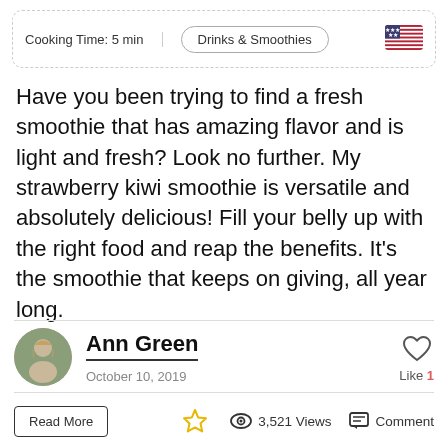Cooking Time: 5 min | Drinks & Smoothies
Have you been trying to find a fresh smoothie that has amazing flavor and is light and fresh? Look no further. My strawberry kiwi smoothie is versatile and absolutely delicious! Fill your belly up with the right food and reap the benefits. It's the smoothie that keeps on giving, all year long.
Ann Green
October 10, 2019
Read More | 3,521 Views | Comment